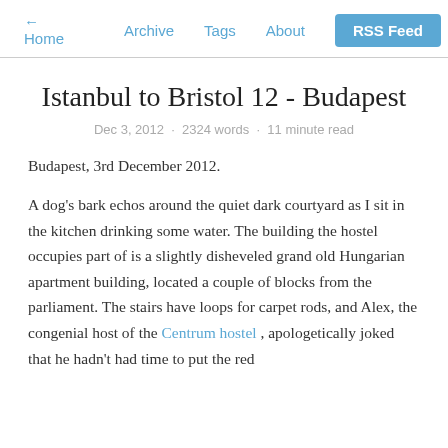← Home   Archive   Tags   About   RSS Feed
Istanbul to Bristol 12 - Budapest
Dec 3, 2012  ·  2324 words  ·  11 minute read
Budapest, 3rd December 2012.
A dog's bark echos around the quiet dark courtyard as I sit in the kitchen drinking some water. The building the hostel occupies part of is a slightly disheveled grand old Hungarian apartment building, located a couple of blocks from the parliament. The stairs have loops for carpet rods, and Alex, the congenial host of the Centrum hostel , apologetically joked that he hadn't had time to put the red